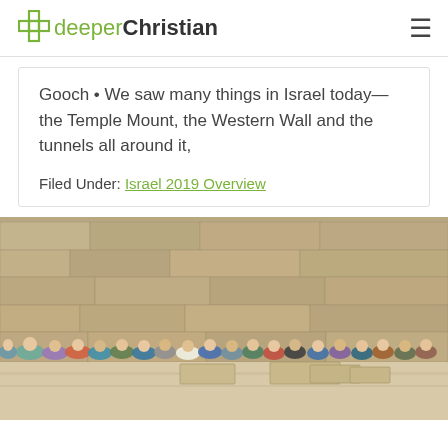deeperChristian
Gooch • We saw many things in Israel today—the Temple Mount, the Western Wall and the tunnels all around it,
Filed Under: Israel 2019 Overview
[Figure (photo): Group of tourists sitting along an ancient stone wall in Israel, likely at an archaeological site near the Western Wall or Temple Mount area.]